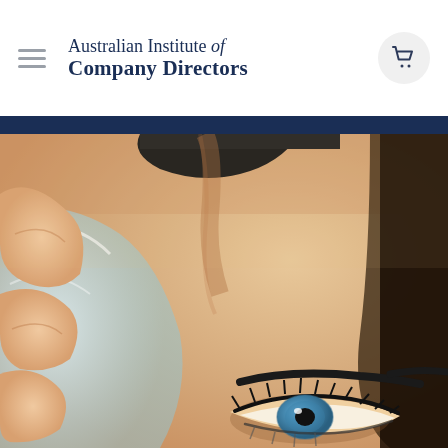Australian Institute of Company Directors
[Figure (photo): Close-up photograph of a man's face, showing one blue eye looking over what appears to be a glass object held up to his face, with fingers visible on the left side. The image is a macro shot focusing on the eye and forehead area.]